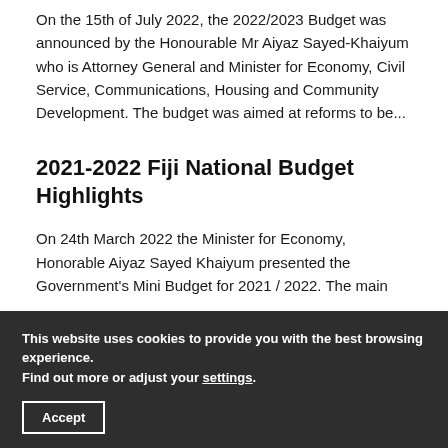On the 15th of July 2022, the 2022/2023 Budget was announced by the Honourable Mr Aiyaz Sayed-Khaiyum who is Attorney General and Minister for Economy, Civil Service, Communications, Housing and Community Development. The budget was aimed at reforms to be...
2021-2022 Fiji National Budget Highlights
On 24th March 2022 the Minister for Economy, Honorable Aiyaz Sayed Khaiyum presented the Government's Mini Budget for 2021 / 2022. The main
This website uses cookies to provide you with the best browsing experience.
Find out more or adjust your settings.